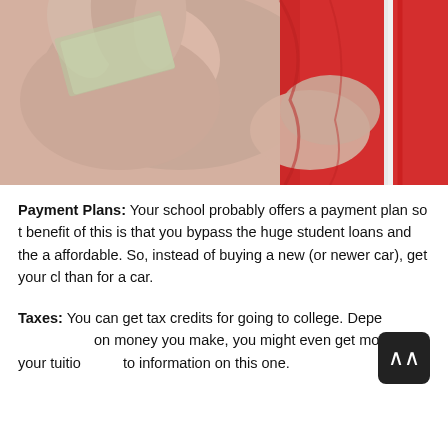[Figure (photo): Close-up photo of hands holding cash money and a red graduation gown with a white/red tassel cord]
Payment Plans: Your school probably offers a payment plan so that the benefit of this is that you bypass the huge student loans and the amount is affordable. So, instead of buying a new (or newer car), get your child, rather than for a car.
Taxes: You can get tax credits for going to college. Depending on the money you make, you might even get most of your tuition back. Look for more information on this one.